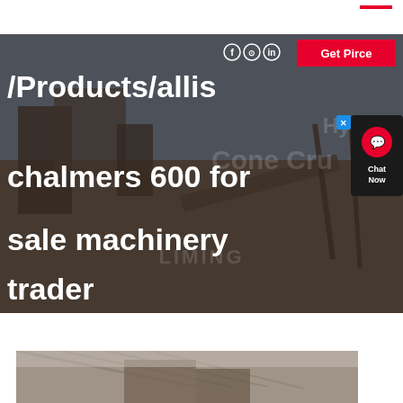[Figure (screenshot): Website screenshot showing a mining/crushing machinery page with hero banner image of industrial crusher equipment outdoors. White navigation bar at top with red decorative line, social media icons (Facebook, Instagram, LinkedIn), and a red 'Get Pirce' button. Large white bold text overlays the hero image reading '/Products/allis chalmers 600 for sale machinery trader'. Orange text reads 'EFFICIENCY INCREA...' at lower right. A chat widget appears on the right side. Below the hero there is a white gap followed by a partial image of industrial equipment interior.]